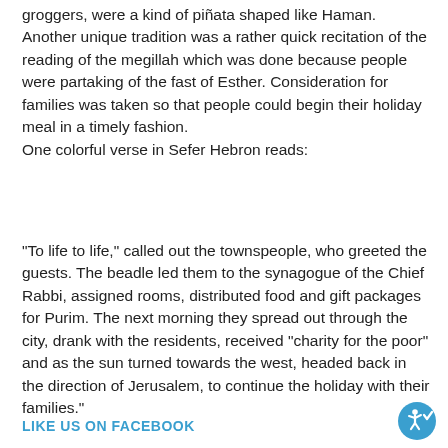groggers, were a kind of piñata shaped like Haman. Another unique tradition was a rather quick recitation of the reading of the megillah which was done because people were partaking of the fast of Esther. Consideration for families was taken so that people could begin their holiday meal in a timely fashion.
One colorful verse in Sefer Hebron reads:
"To life to life," called out the townspeople, who greeted the guests. The beadle led them to the synagogue of the Chief Rabbi, assigned rooms, distributed food and gift packages for Purim. The next morning they spread out through the city, drank with the residents, received "charity for the poor" and as the sun turned towards the west, headed back in the direction of Jerusalem, to continue the holiday with their families."
LIKE US ON FACEBOOK